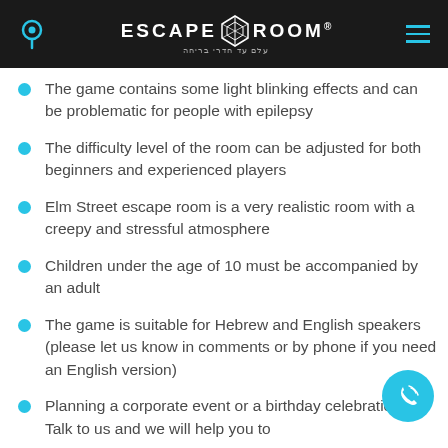ESCAPE ROOM
The game contains some light blinking effects and can be problematic for people with epilepsy
The difficulty level of the room can be adjusted for both beginners and experienced players
Elm Street escape room is a very realistic room with a creepy and stressful atmosphere
Children under the age of 10 must be accompanied by an adult
The game is suitable for Hebrew and English speakers (please let us know in comments or by phone if you need an English version)
Planning a corporate event or a birthday celebration? Talk to us and we will help you to